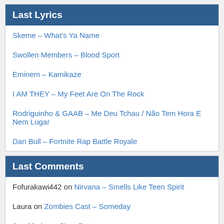Last Lyrics
Skeme – What's Ya Name
Swollen Members – Blood Sport
Eminem – Kamikaze
I AM THEY – My Feet Are On The Rock
Rodriguinho & GAAB – Me Deu Tchau / Não Tem Hora E Nem Lugar
Dan Bull – Fortnite Rap Battle Royale
Last Comments
Fofurakawi442 on Nirvana – Smells Like Teen Spirit
Laura on Zombies Cast – Someday
Ana Maria on Sia – Buttons
Amirah on Naughty By Nature – 1, 2, 3
Adair on Not3s – 99 + 1